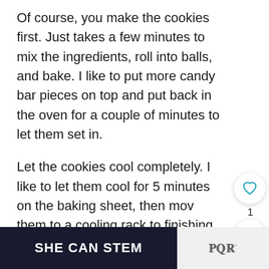Of course, you make the cookies first. Just takes a few minutes to mix the ingredients, roll into balls, and bake. I like to put more candy bar pieces on top and put back in the oven for a couple of minutes to let them set in.
Let the cookies cool completely. I like to let them cool for 5 minutes on the baking sheet, then move them to a cooling rack to finishing cooling.
[Figure (photo): Close-up photo of cookies topped with chocolate candy pieces on a baking sheet, with a brick wall background]
SHE CAN STEM
WHAT'S NEXT → Amazing Almond Butt...